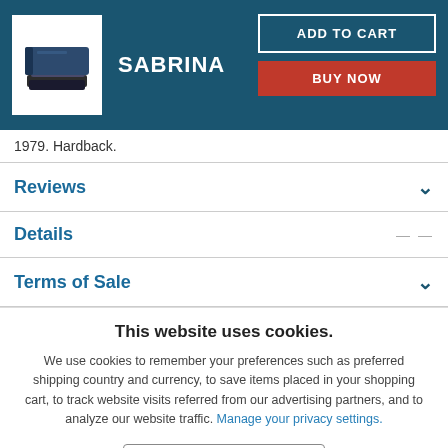SABRINA
1979. Hardback.
Reviews
Details
Terms of Sale
This website uses cookies.
We use cookies to remember your preferences such as preferred shipping country and currency, to save items placed in your shopping cart, to track website visits referred from our advertising partners, and to analyze our website traffic. Manage your privacy settings.
AGREE AND CLOSE